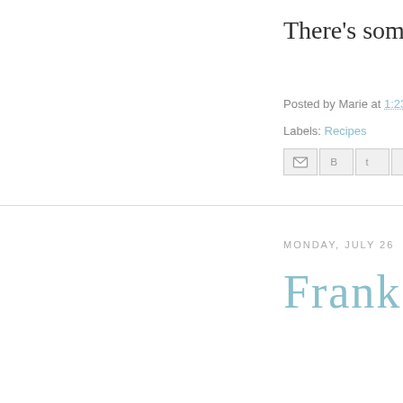There's some grilled
Posted by Marie at 1:23
Labels: Recipes
[Figure (other): Social sharing buttons: Email, Blogger, Twitter, Facebook, Pinterest]
MONDAY, JULY 26
Frank's Fa